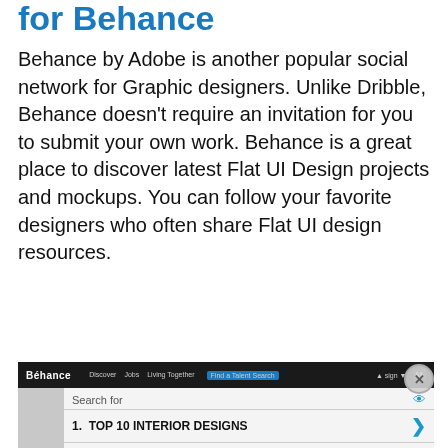for Behance
Behance by Adobe is another popular social network for Graphic designers. Unlike Dribble, Behance doesn't require an invitation for you to submit your own work. Behance is a great place to discover latest Flat UI Design projects and mockups. You can follow your favorite designers who often share Flat UI design resources.
[Figure (screenshot): Screenshot of Behance website with dark navigation bar, overlaid with an advertisement panel showing 'Search for' with 1. TOP 10 INTERIOR DESIGNS and 2. GRAPHIC DESIGN TRAINING listed, with a close button.]